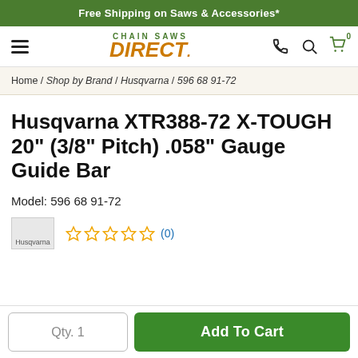Free Shipping on Saws & Accessories*
[Figure (logo): Chain Saws Direct logo with hamburger menu, phone, search, and cart icons]
Home / Shop by Brand / Husqvarna / 596 68 91-72
Husqvarna XTR388-72 X-TOUGH 20" (3/8" Pitch) .058" Gauge Guide Bar
Model: 596 68 91-72
[Figure (logo): Husqvarna brand logo placeholder and 5-star rating (0 reviews)]
Qty. 1
Add To Cart